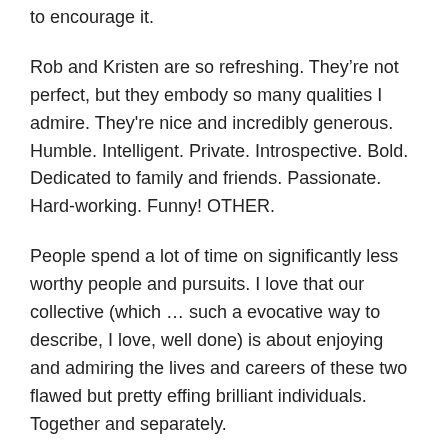to encourage it.
Rob and Kristen are so refreshing. They're not perfect, but they embody so many qualities I admire. They're nice and incredibly generous. Humble. Intelligent. Private. Introspective. Bold. Dedicated to family and friends. Passionate. Hard-working. Funny! OTHER.
People spend a lot of time on significantly less worthy people and pursuits. I love that our collective (which … such a evocative way to describe, I love, well done) is about enjoying and admiring the lives and careers of these two flawed but pretty effing brilliant individuals. Together and separately.
And with that, I've written ENOUGH. I can't wait